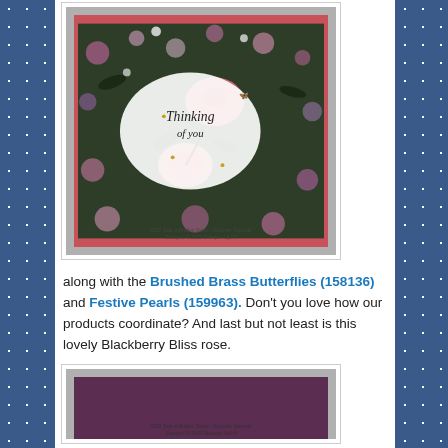[Figure (photo): A handmade greeting card with floral background, featuring pink/coral roses on a dark green floral background, with a white oval in the center containing cursive text 'Thinking of you'. Card has a coral/pink border and sits on a gray background.]
along with the Brushed Brass Butterflies (158136) and Festive Pearls (159963). Don't you love how our products coordinate? And last but not least is this lovely Blackberry Bliss rose.
[Figure (photo): A handmade greeting card partially visible, with a dark purple/blackberry background, on a gray background.]